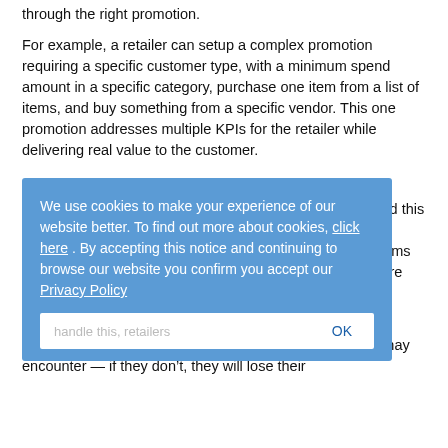through the right promotion.
For example, a retailer can setup a complex promotion requiring a specific customer type, with a minimum spend amount in a specific category, purchase one item from a list of items, and buy something from a specific vendor. This one promotion addresses multiple KPIs for the retailer while delivering real value to the customer.
Agility and Flexibility
As the old saying goes: “Change is the only constant.” And this holds true of the retail industry. Consumer behaviors and desires are always evolving and changing, and the platforms and architectures powering retailers across the industry are being changed all the time.
To handle this, retailers need a promotion management solution that can adapt quickly to whatever change they may encounter — if they don’t, they will lose their